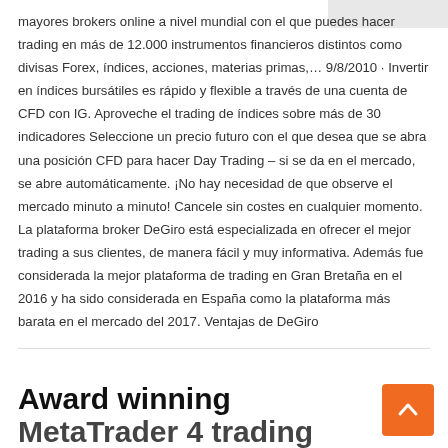mayores brokers online a nivel mundial con el que puedes hacer trading en más de 12.000 instrumentos financieros distintos como divisas Forex, índices, acciones, materias primas,… 9/8/2010 · Invertir en índices bursátiles es rápido y flexible a través de una cuenta de CFD con IG. Aproveche el trading de índices sobre más de 30 indicadores Seleccione un precio futuro con el que desea que se abra una posición CFD para hacer Day Trading – si se da en el mercado, se abre automáticamente. ¡No hay necesidad de que observe el mercado minuto a minuto! Cancele sin costes en cualquier momento. La plataforma broker DeGiro está especializada en ofrecer el mejor trading a sus clientes, de manera fácil y muy informativa. Además fue considerada la mejor plataforma de trading en Gran Bretaña en el 2016 y ha sido considerada en España como la plataforma más barata en el mercado del 2017. Ventajas de DeGiro
Award winning MetaTrader 4 trading